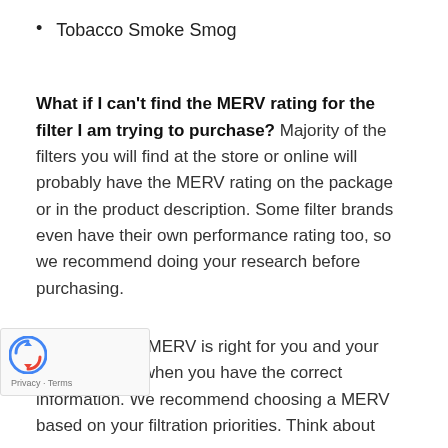Tobacco Smoke Smog
What if I can't find the MERV rating for the filter I am trying to purchase? Majority of the filters you will find at the store or online will probably have the MERV rating on the package or in the product description. Some filter brands even have their own performance rating too, so we recommend doing your research before purchasing.
Deciding what MERV is right for you and your family is easy when you have the correct information. We recommend choosing a MERV based on your filtration priorities. Think about